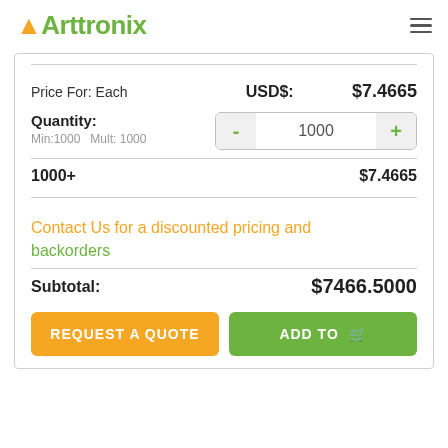Arttronix
Price For: Each	USD$:	$7.4665
Quantity:
Min:1000   Mult: 1000
1000+	$7.4665
Contact Us for a discounted pricing and backorders
Subtotal:	$7466.5000
REQUEST A QUOTE	ADD TO